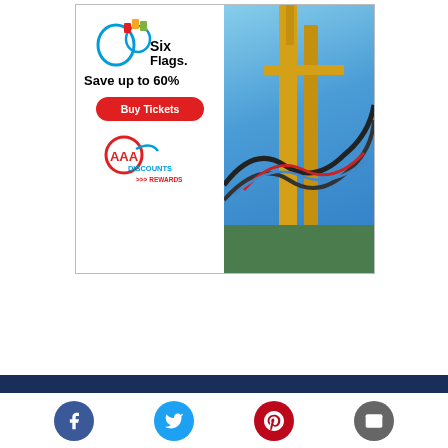[Figure (photo): Six Flags advertisement showing roller coaster photo on right side and Six Flags logo, Save up to 60%, Buy Tickets button, and AAA Discounts Rewards on left side]
[Figure (infographic): Footer bar with dark navy background and social media icons: Facebook (blue), Twitter (light blue), Pinterest (red), Email (grey)]